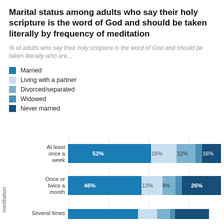Marital status among adults who say their holy scripture is the word of God and should be taken literally by frequency of meditation
% of adults who say their holy scripture is the word of God and should be taken literally who are...
Married
Living with a partner
Divorced/separated
Widowed
Never married
[Figure (stacked-bar-chart): Marital status by frequency of meditation]